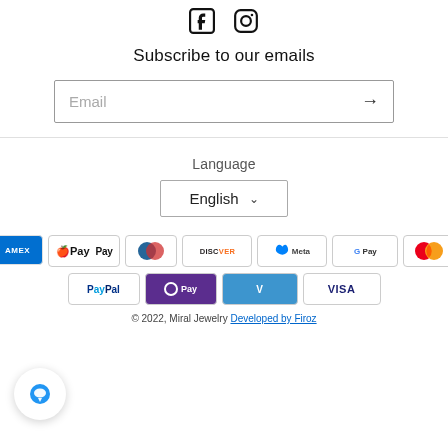[Figure (logo): Facebook and Instagram social media icons at the top of the page]
Subscribe to our emails
Email (input field with arrow button)
Language
English (dropdown)
[Figure (infographic): Payment method icons: American Express, Apple Pay, Diners Club, Discover, Meta Pay, Google Pay, Mastercard, PayPal, OPay, Venmo, Visa]
© 2022, Miral Jewelry Developed by Firoz